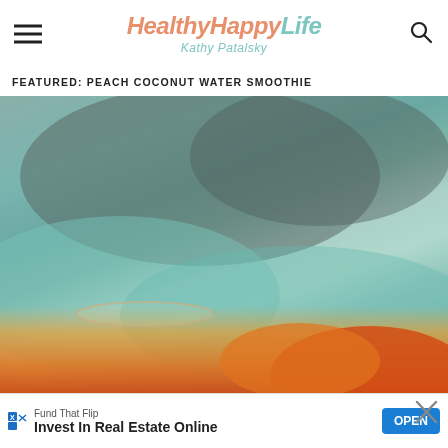HealthyHappyLife — Kathy Patalsky
FEATURED: PEACH COCONUT WATER SMOOTHIE
[Figure (photo): Close-up photo of a peach coconut water smoothie in a glass, with a blurred teal/mint green background and vibrant orange peach visible at the bottom. Social action buttons (heart, count '1', share) overlay the right side. A 'What's Next' panel shows a thumbnail and text 'Vegan Breakfast...']
Fund That Flip
Invest In Real Estate Online
OPEN